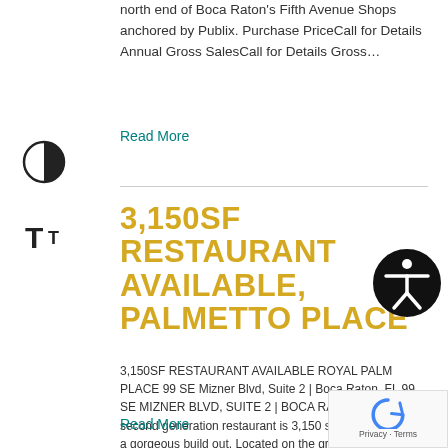north end of Boca Raton's Fifth Avenue Shops anchored by Publix. Purchase PriceCall for Details Annual Gross SalesCall for Details Gross…
Read More
3,150SF RESTAURANT AVAILABLE, PALMETTO PLACE
3,150SF RESTAURANT AVAILABLE ROYAL PALM PLACE 99 SE Mizner Blvd, Suite 2 | Boca Raton, FL 99 SE MIZNER BLVD, SUITE 2 | BOCA RATON, FL This second generation restaurant is 3,150 sq ft and features a gorgeous build out. Located on the ground floor of the luxury Palmetto Place condominium development, adjacent to Royal…
Read More